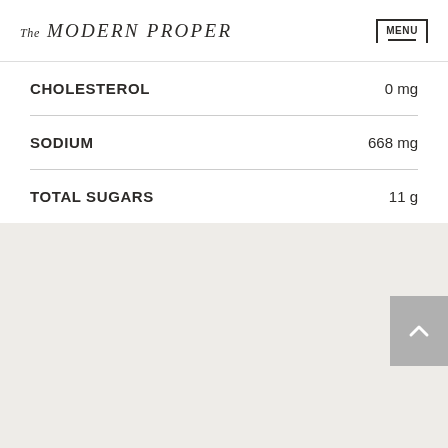The MODERN PROPER — MENU
| Nutrient | Amount |
| --- | --- |
| CHOLESTEROL | 0 mg |
| SODIUM | 668 mg |
| TOTAL SUGARS | 11 g |